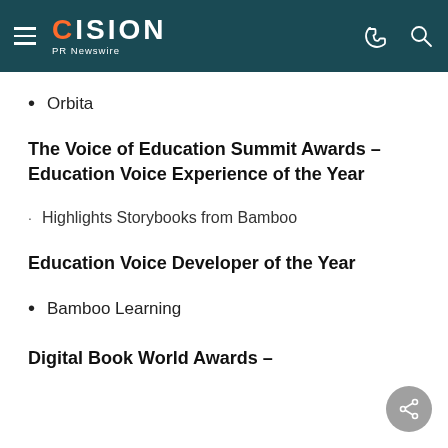CISION PR Newswire
Orbita
The Voice of Education Summit Awards – Education Voice Experience of the Year
Highlights Storybooks from Bamboo
Education Voice Developer of the Year
Bamboo Learning
Digital Book World Awards –